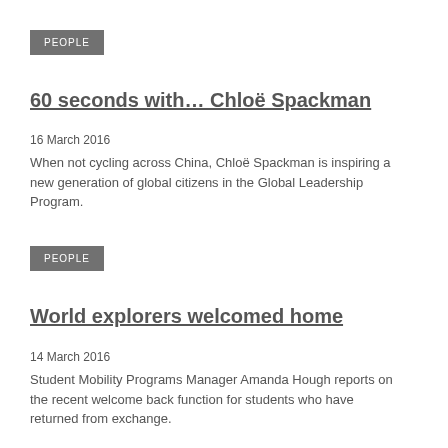PEOPLE
60 seconds with… Chloë Spackman
16 March 2016
When not cycling across China, Chloë Spackman is inspiring a new generation of global citizens in the Global Leadership Program.
PEOPLE
World explorers welcomed home
14 March 2016
Student Mobility Programs Manager Amanda Hough reports on the recent welcome back function for students who have returned from exchange.